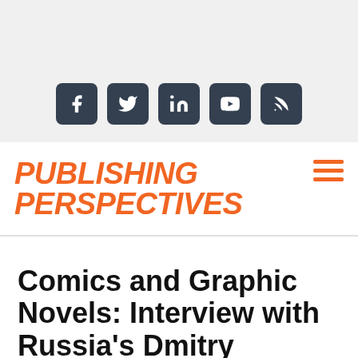[Figure (other): Social media icons: Facebook, Twitter, LinkedIn, YouTube, RSS feed — white icons on dark slate rounded-square backgrounds, displayed in a row on a light gray banner]
PUBLISHING PERSPECTIVES
Comics and Graphic Novels: Interview with Russia's Dmitry Yakovley